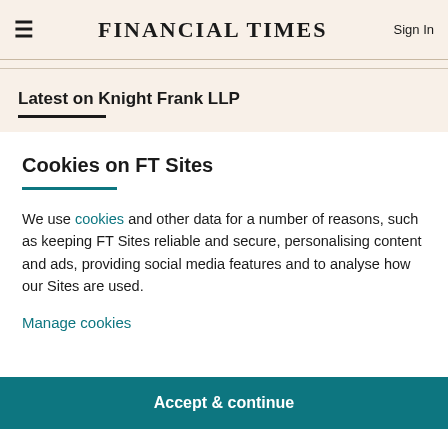FINANCIAL TIMES | Sign In
Latest on Knight Frank LLP
Cookies on FT Sites
We use cookies and other data for a number of reasons, such as keeping FT Sites reliable and secure, personalising content and ads, providing social media features and to analyse how our Sites are used.
Manage cookies
Accept & continue